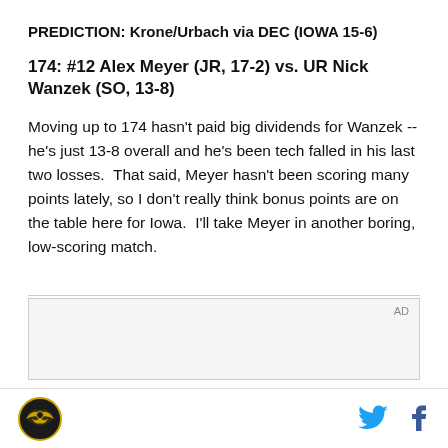PREDICTION: Krone/Urbach via DEC (IOWA 15-6)
174: #12 Alex Meyer (JR, 17-2) vs. UR Nick Wanzek (SO, 13-8)
Moving up to 174 hasn't paid big dividends for Wanzek -- he's just 13-8 overall and he's been tech falled in his last two losses.  That said, Meyer hasn't been scoring many points lately, so I don't really think bonus points are on the table here for Iowa.  I'll take Meyer in another boring, low-scoring match.
[Figure (other): Advertisement placeholder area with AD label]
Footer with site logo and social media icons (Twitter, Facebook)